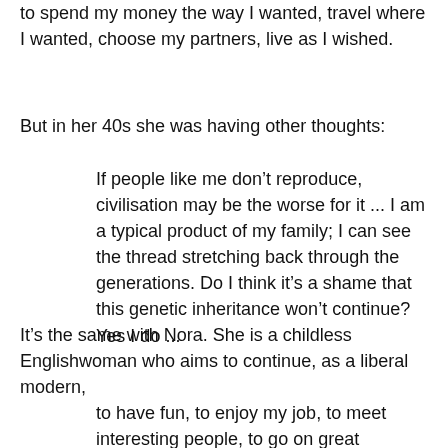to spend my money the way I wanted, travel where I wanted, choose my partners, live as I wished.
But in her 40s she was having other thoughts:
If people like me don’t reproduce, civilisation may be the worse for it ... I am a typical product of my family; I can see the thread stretching back through the generations. Do I think it’s a shame that this genetic inheritance won’t continue? Yes I do ...
It’s the same with Nora. She is a childless Englishwoman who aims to continue, as a liberal modern,
to have fun, to enjoy my job, to meet interesting people, to go on great holidays, to read interesting books...